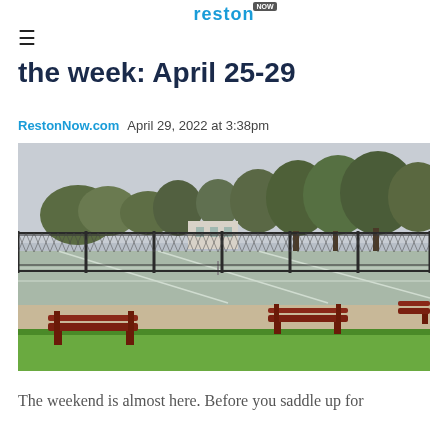reston NOW
the week: April 25-29
RestonNow.com   April 29, 2022 at 3:38pm
[Figure (photo): Outdoor tennis courts enclosed by chain-link fences, with red park benches along a paved path, green grass in foreground, and trees against an overcast sky.]
The weekend is almost here. Before you saddle up for